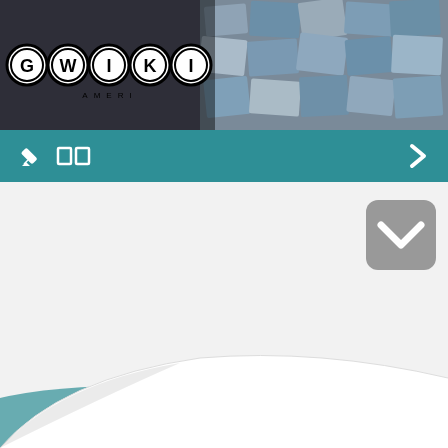[Figure (screenshot): GWIKI app screenshot showing header with GWIKI logo (black circular letters) on left and photo collage on right, teal navigation bar with pencil icon, two square icons and chevron, a gray chevron button, white content area, and page curl effect at bottom]
GWIKI
□□